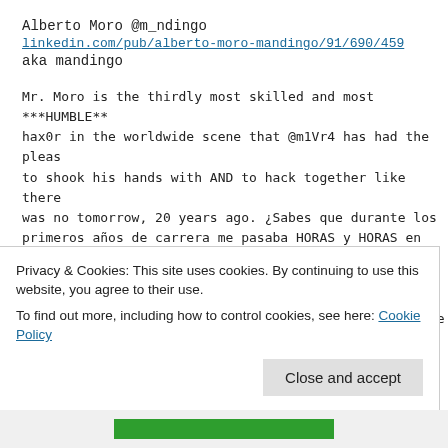Alberto Moro @m_ndingo
linkedin.com/pub/alberto-moro-mandingo/91/690/459
aka mandingo
Mr. Moro is the thirdly most skilled and most ***HUMBLE*** hax0r in the worldwide scene that @m1Vr4 has had the pleasure to shook his hands with AND to hack together like there was no tomorrow, 20 years ago. ¿Sabes que durante los primeros años de carrera me pasaba HORAS y HORAS en la tienda para audiófilos de tu padre? Se me caia la baba, macho. Por consejo suyo, le compré unos altavoces Paradigm, creo recordar, que sonaban de putisima madre oig... Pero claro, no podia yo permitirme aquellas fortunas que costaban otros equipos...sigh... Por cierto, dile a
Privacy & Cookies: This site uses cookies. By continuing to use this website, you agree to their use.
To find out more, including how to control cookies, see here: Cookie Policy
Close and accept